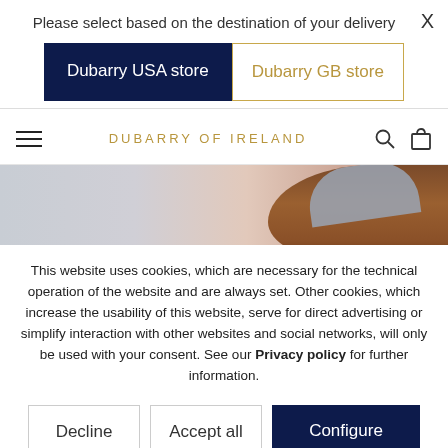Please select based on the destination of your delivery
X
Dubarry USA store
Dubarry GB store
DUBARRY OF IRELAND
[Figure (photo): Partial view of a woman wearing a grey cap and with auburn hair, hero image for Dubarry of Ireland website]
This website uses cookies, which are necessary for the technical operation of the website and are always set. Other cookies, which increase the usability of this website, serve for direct advertising or simplify interaction with other websites and social networks, will only be used with your consent. See our Privacy policy for further information.
Decline
Accept all
Configure